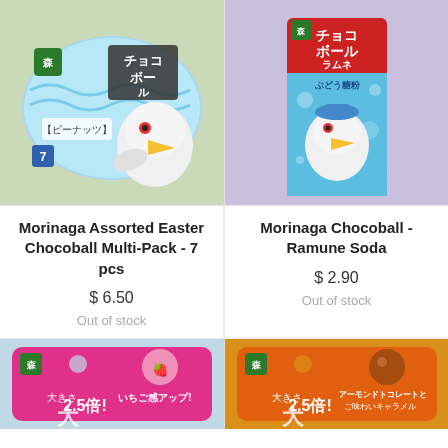[Figure (photo): Morinaga Assorted Easter Chocoball Multi-Pack packaging on green background, Japanese snack bag with cartoon bird character]
[Figure (photo): Morinaga Chocoball Ramune Soda box on purple background, Japanese candy box with cartoon bird character]
Morinaga Assorted Easter Chocoball Multi-Pack - 7 pcs
$ 6.50
Out of stock
Morinaga Chocoball - Ramune Soda
$ 2.90
Out of stock
[Figure (photo): Morinaga pink strawberry snack package on light blue background with Japanese text]
[Figure (photo): Morinaga orange almond caramel snack package on orange/gold background with Japanese text]